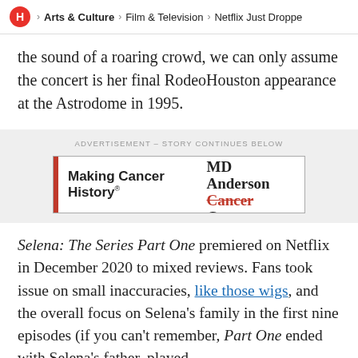H > Arts & Culture > Film & Television > Netflix Just Droppe
the sound of a roaring crowd, we can only assume the concert is her final RodeoHouston appearance at the Astrodome in 1995.
[Figure (other): Advertisement banner for MD Anderson Cancer Center: 'Making Cancer History® THE UNIVERSITY OF TEXAS MD Anderson Cancer Center' with a red vertical bar on the left side.]
Selena: The Series Part One premiered on Netflix in December 2020 to mixed reviews. Fans took issue on small inaccuracies, like those wigs, and the overall focus on Selena's family in the first nine episodes (if you can't remember, Part One ended with Selena's father, played